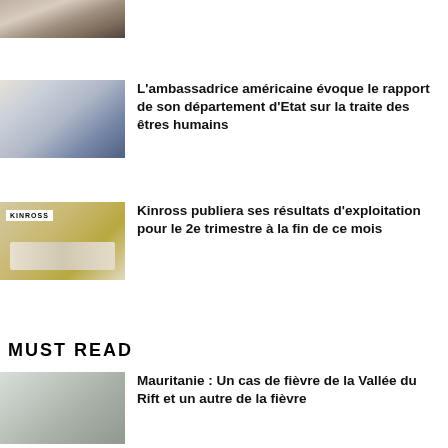[Figure (photo): Top partial image of a person with a ballot box, cropped at top]
[Figure (photo): Photo of a woman and a man in formal attire in an office setting]
L'ambassadrice américaine évoque le rapport de son département d'Etat sur la traite des êtres humains
[Figure (photo): Photo of a white vehicle (Land Cruiser) in a sandy area with a Kinross sign]
Kinross publiera ses résultats d'exploitation pour le 2e trimestre à la fin de ce mois
MUST READ
[Figure (photo): Photo of a person in protective white suit]
Mauritanie : Un cas de fièvre de la Vallée du Rift et un autre de la fièvre